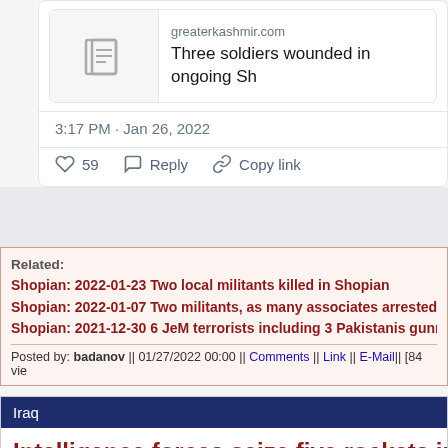[Figure (screenshot): Link preview card showing greaterkashmir.com article icon and title 'Three soldiers wounded in ongoing Sh...']
3:17 PM · Jan 26, 2022
59  Reply  Copy link
Related: Shopian: 2022-01-23 Two local militants killed in Shopian | Shopian: 2022-01-07 Two militants, as many associates arrested i... | Shopian: 2021-12-30 6 JeM terrorists including 3 Pakistanis gunne...
Posted by: badanov || 01/27/2022 00:00 || Comments || Link || E-Mail|| [84 vie...
Iraq
Intelligence forces seize five rockets in a...